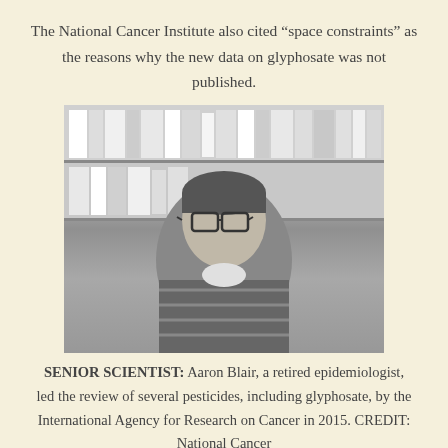The National Cancer Institute also cited “space constraints” as the reasons why the new data on glyphosate was not published.
[Figure (photo): Black and white portrait photograph of Aaron Blair, a man wearing glasses and a patterned sweater, seated in front of bookshelves.]
SENIOR SCIENTIST: Aaron Blair, a retired epidemiologist, led the review of several pesticides, including glyphosate, by the International Agency for Research on Cancer in 2015. CREDIT: National Cancer